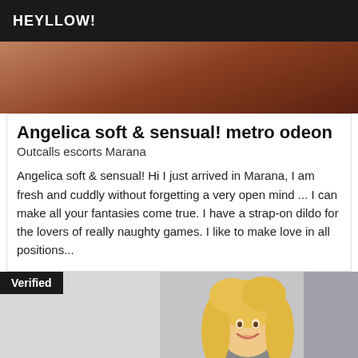HEYLLOW!
[Figure (photo): Cropped close-up photo of a person's body/skin, brownish tone, top portion of listing card image]
Angelica soft & sensual! metro odeon
Outcalls escorts Marana
Angelica soft & sensual! Hi I just arrived in Marana, I am fresh and cuddly without forgetting a very open mind ... I can make all your fantasies come true. I have a strap-on dildo for the lovers of really naughty games. I like to make love in all positions...
[Figure (photo): Photo of a young woman with long curly blonde hair, smiling, wearing a grey top, sitting on a white couch with a red object visible. A 'Verified' badge appears in the top-left corner of the image.]